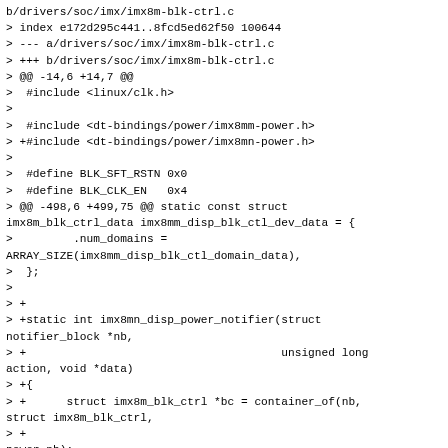b/drivers/soc/imx/imx8m-blk-ctrl.c
> index e172d295c441..8fcd5ed62f50 100644
> --- a/drivers/soc/imx/imx8m-blk-ctrl.c
> +++ b/drivers/soc/imx/imx8m-blk-ctrl.c
> @@ -14,6 +14,7 @@
>  #include <linux/clk.h>
>
>  #include <dt-bindings/power/imx8mm-power.h>
> +#include <dt-bindings/power/imx8mn-power.h>
>
>  #define BLK_SFT_RSTN 0x0
>  #define BLK_CLK_EN   0x4
> @@ -498,6 +499,75 @@ static const struct imx8m_blk_ctrl_data imx8mm_disp_blk_ctl_dev_data = {
>         .num_domains = ARRAY_SIZE(imx8mm_disp_blk_ctl_domain_data),
>  };
>
> +
> +static int imx8mn_disp_power_notifier(struct notifier_block *nb,
> +                                      unsigned long action, void *data)
> +{
> +      struct imx8m_blk_ctrl *bc = container_of(nb, struct imx8m_blk_ctrl,
> +
> +power_nb);
> +
> +      if (action != GENPD_NOTIFY_ON && action !=
GENPD_NOTIFY_PRE_OFF)